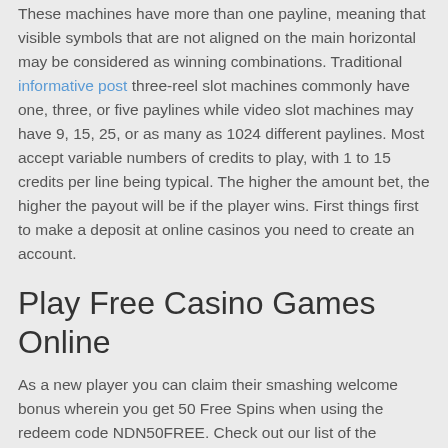These machines have more than one payline, meaning that visible symbols that are not aligned on the main horizontal may be considered as winning combinations. Traditional informative post three-reel slot machines commonly have one, three, or five paylines while video slot machines may have 9, 15, 25, or as many as 1024 different paylines. Most accept variable numbers of credits to play, with 1 to 15 credits per line being typical. The higher the amount bet, the higher the payout will be if the player wins. First things first to make a deposit at online casinos you need to create an account.
Play Free Casino Games Online
As a new player you can claim their smashing welcome bonus wherein you get 50 Free Spins when using the redeem code NDN50FREE. Check out our list of the recommended US online casinos